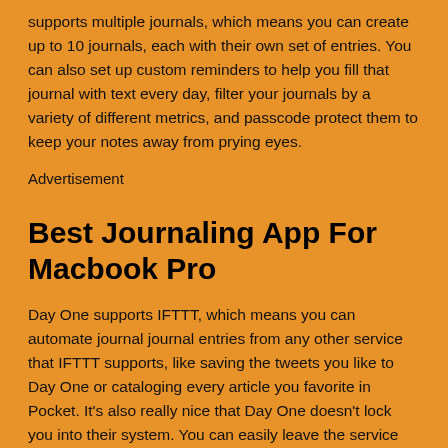supports multiple journals, which means you can create up to 10 journals, each with their own set of entries. You can also set up custom reminders to help you fill that journal with text every day, filter your journals by a variety of different metrics, and passcode protect them to keep your notes away from prying eyes.
Advertisement
Best Journaling App For Macbook Pro
Day One supports IFTTT, which means you can automate journal journal entries from any other service that IFTTT supports, like saving the tweets you like to Day One or cataloging every article you favorite in Pocket. It's also really nice that Day One doesn't lock you into their system. You can easily leave the service and export your notes at anytime as PDFs or plain text files.